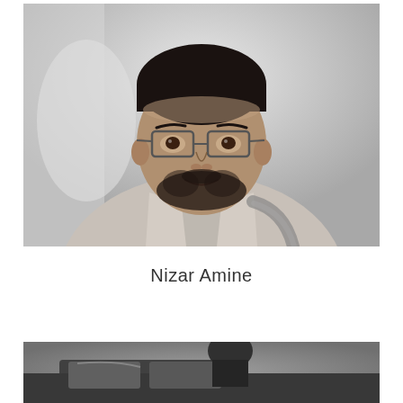[Figure (photo): Black and white portrait photo of a young man with glasses and a beard, wearing a light shirt and carrying a backpack strap visible on the right shoulder, looking slightly upward]
Nizar Amine
[Figure (photo): Black and white photo partially visible at bottom, appears to show a person near a vehicle or dark object, only top portion visible]